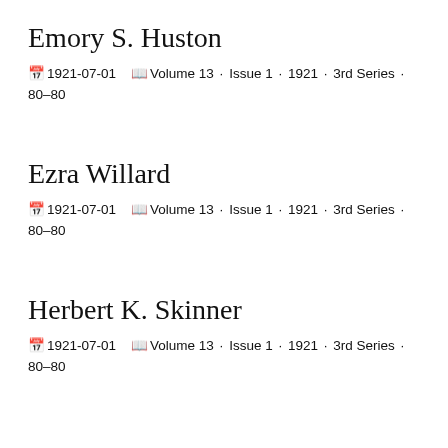Emory S. Huston
1921-07-01  Volume 13 · Issue 1 · 1921 · 3rd Series · 80–80
Ezra Willard
1921-07-01  Volume 13 · Issue 1 · 1921 · 3rd Series · 80–80
Herbert K. Skinner
1921-07-01  Volume 13 · Issue 1 · 1921 · 3rd Series · 80–80